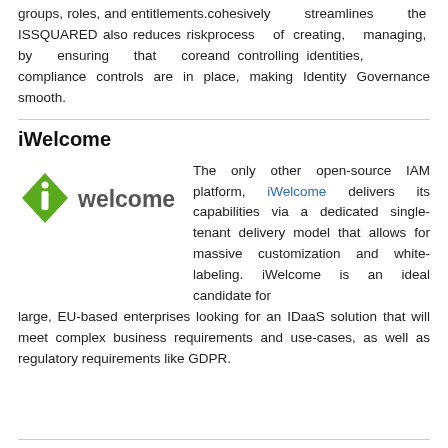cohesively streamlines the process of creating, managing, and controlling identities, groups, roles, and entitlements. ISSQUARED also reduces risk by ensuring that core compliance controls are in place, making Identity Governance smooth.
iWelcome
[Figure (logo): iWelcome logo: green diamond shape with white 'i' icon on left, 'welcome' text in grey on right]
The only other open-source IAM platform, iWelcome delivers its capabilities via a dedicated single-tenant delivery model that allows for massive customization and white-labeling. iWelcome is an ideal candidate for large, EU-based enterprises looking for an IDaaS solution that will meet complex business requirements and use-cases, as well as regulatory requirements like GDPR.